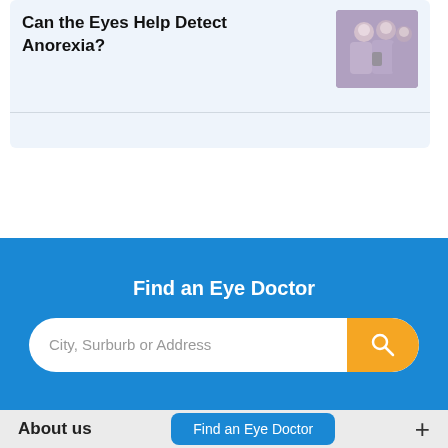Can the Eyes Help Detect Anorexia?
[Figure (photo): Group of young women, one looking at a phone]
Find an Eye Doctor
City, Surburb or Address
Find an Eye Doctor
About us